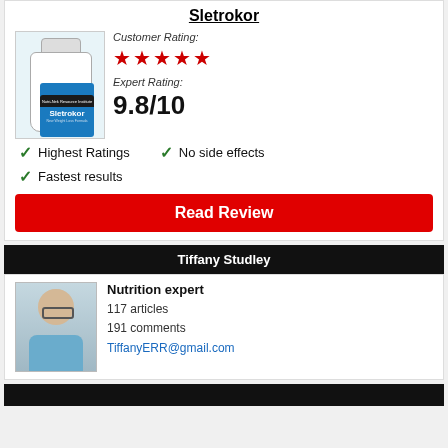Sletrokor
Customer Rating:
[Figure (other): 4.5 star rating display with 4 full red stars and 1 half red star]
Expert Rating:
9.8/10
✔ Highest Ratings
✔ No side effects
✔ Fastest results
Read Review
Tiffany Studley
Nutrition expert
117 articles
191 comments
TiffanyERR@gmail.com